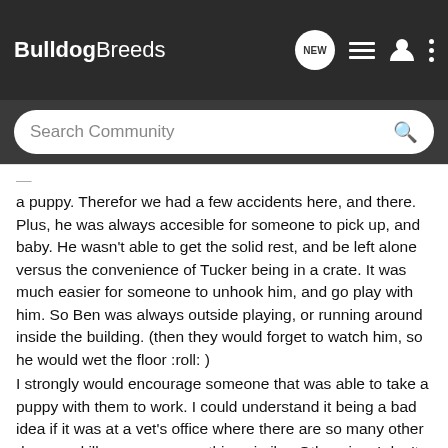BulldogBreeds
a puppy. Therefor we had a few accidents here, and there. Plus, he was always accesible for someone to pick up, and baby. He wasn't able to get the solid rest, and be left alone versus the convenience of Tucker being in a crate. It was much easier for someone to unhook him, and go play with him. So Ben was always outside playing, or running around inside the building. (then they would forget to watch him, so he would wet the floor :roll: )
I strongly would encourage someone that was able to take a puppy with them to work. I could understand it being a bad idea if it was at a vet's office where there are so many other dogs, and illnesses or something similar. Otherwise, I don't get why someone would not encourage it.
I wouldn't have my dog paper trained either. Personally, I think that's completely disgusting, and don't see how people expect